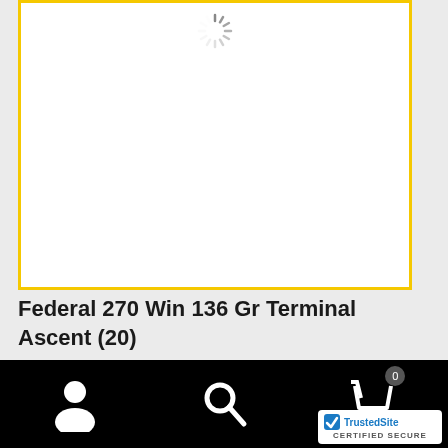[Figure (other): Loading spinner icon at top of product image area]
Federal 270 Win 136 Gr Terminal Ascent (20)
83 In Stock
Add to cart
$37.49
[Figure (logo): TrustedSite certified secure badge]
Bottom navigation bar with user icon, search icon, and cart icon with badge 0